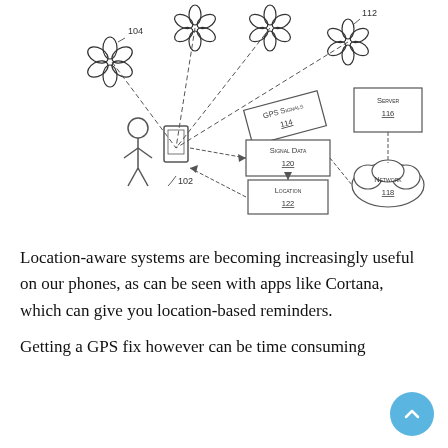[Figure (schematic): Patent-style engineering diagram showing GPS satellites (labeled 104, 112) sending dashed lines to a mobile device (102) held by a person. The device connects to GPS Signals (114), Signal Data (120), and Location (122) boxes. A Server (116) and Network (118) cloud are shown on the right, connected by dashed lines.]
Location-aware systems are becoming increasingly useful on our phones, as can be seen with apps like Cortana, which can give you location-based reminders.
Getting a GPS fix however can be time consuming